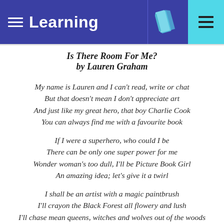Learning
Is There Room For Me?
by Lauren Graham
My name is Lauren and I can't read, write or chat
But that doesn't mean I don't appreciate art
And just like my great hero, that boy Charlie Cook
You can always find me with a favourite book
If I were a superhero, who could I be
There can be only one super power for me
Wonder woman's too dull, I'll be Picture Book Girl
An amazing idea; let's give it a twirl
I shall be an artist with a magic paintbrush
I'll crayon the Black Forest all flowery and lush
I'll chase mean queens, witches and wolves out of the woods